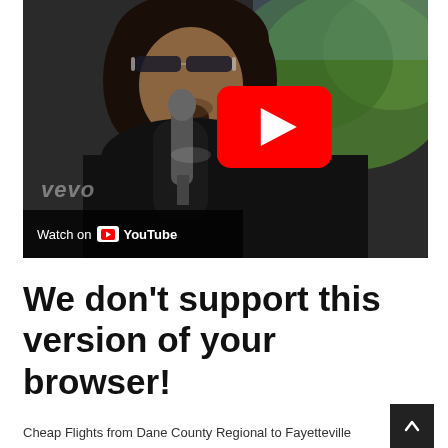[Figure (screenshot): YouTube video thumbnail showing a man with sunglasses and dark curly hair holding a microphone, with a red YouTube play button overlay and a 'Watch on YouTube' bar at the bottom. Vevo watermark visible.]
We don't support this version of your browser!
Cheap Flights from Dane County Regional to Fayetteville